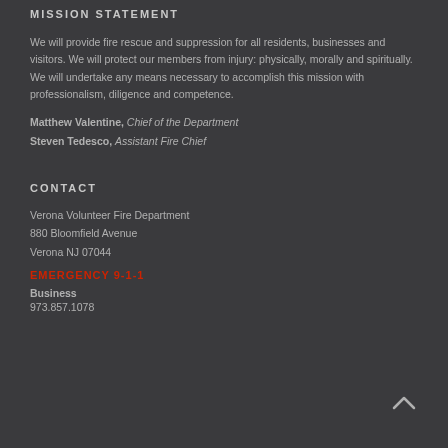MISSION STATEMENT
We will provide fire rescue and suppression for all residents, businesses and visitors. We will protect our members from injury: physically, morally and spiritually. We will undertake any means necessary to accomplish this mission with professionalism, diligence and competence.
Matthew Valentine, Chief of the Department
Steven Tedesco, Assistant Fire Chief
CONTACT
Verona Volunteer Fire Department
880 Bloomfield Avenue
Verona NJ 07044
EMERGENCY 9-1-1
Business
973.857.1078